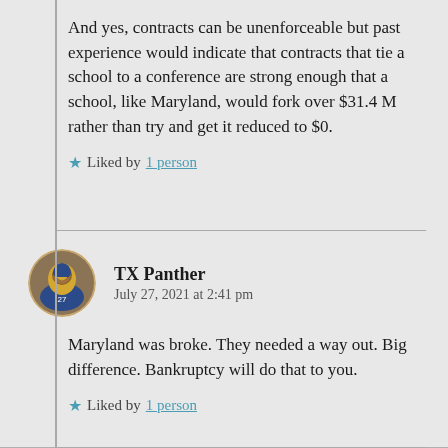And yes, contracts can be unenforceable but past experience would indicate that contracts that tie a school to a conference are strong enough that a school, like Maryland, would fork over $31.4 M rather than try and get it reduced to $0.
Liked by 1 person
TX Panther
July 27, 2021 at 2:41 pm
Maryland was broke. They needed a way out. Big difference. Bankruptcy will do that to you.
Liked by 1 person